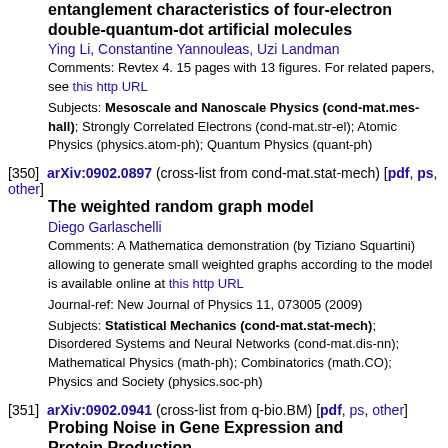entanglement characteristics of four-electron double-quantum-dot artificial molecules
Ying Li, Constantine Yannouleas, Uzi Landman
Comments: Revtex 4. 15 pages with 13 figures. For related papers, see this http URL
Subjects: Mesoscale and Nanoscale Physics (cond-mat.mes-hall); Strongly Correlated Electrons (cond-mat.str-el); Atomic Physics (physics.atom-ph); Quantum Physics (quant-ph)
[350] arXiv:0902.0897 (cross-list from cond-mat.stat-mech) [pdf, ps, other]
The weighted random graph model
Diego Garlaschelli
Comments: A Mathematica demonstration (by Tiziano Squartini) allowing to generate small weighted graphs according to the model is available online at this http URL
Journal-ref: New Journal of Physics 11, 073005 (2009)
Subjects: Statistical Mechanics (cond-mat.stat-mech); Disordered Systems and Neural Networks (cond-mat.dis-nn); Mathematical Physics (math-ph); Combinatorics (math.CO); Physics and Society (physics.soc-ph)
[351] arXiv:0902.0941 (cross-list from q-bio.BM) [pdf, ps, other]
Probing Noise in Gene Expression and Protein Production